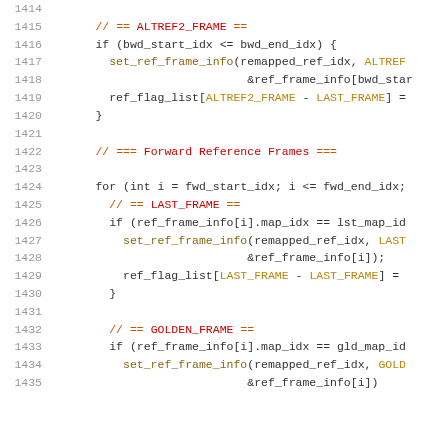[Figure (screenshot): Source code listing showing C/C++ code for reference frame assignment logic, lines 1414-1435, with syntax highlighting. Lines include comments about ALTREF2_FRAME, Forward Reference Frames, LAST_FRAME, and GOLDEN_FRAME with associated if-statements and function calls.]